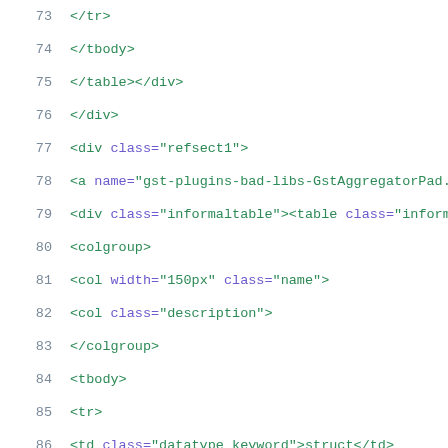73    </tr>
74    </tbody>
75    </table></div>
76    </div>
77    <div class="refsect1">
78    <a name="gst-plugins-bad-libs-GstAggregatorPad.
79    <div class="informaltable"><table class="informa
80    <colgroup>
81    <col width="150px" class="name">
82    <col class="description">
83    </colgroup>
84    <tbody>
85    <tr>
86    <td class="datatype_keyword">struct</td>
87    <td class="function_name"><a class="link" href=
88    </tr>
89    <tr>
90    <td class="datatype_keyword">struct</td>
91    <td class="function_name"><a class="link" href=
92    </tr>
93    </tbody>